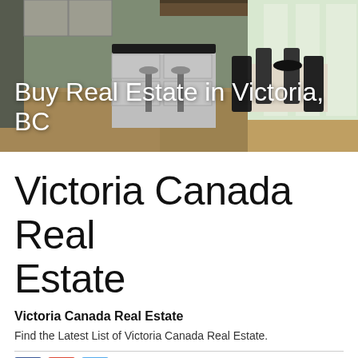[Figure (photo): Interior photo of a modern open-plan kitchen and dining area with white cabinetry, dark countertops, bar stools, and a dining table with black chairs. Large windows in the background.]
Buy Real Estate in Victoria, BC
Victoria Canada Real Estate
Victoria Canada Real Estate
Find the Latest List of Victoria Canada Real Estate.
[Figure (other): Social media share buttons: Facebook (blue), Google+ (red), Twitter (light blue)]